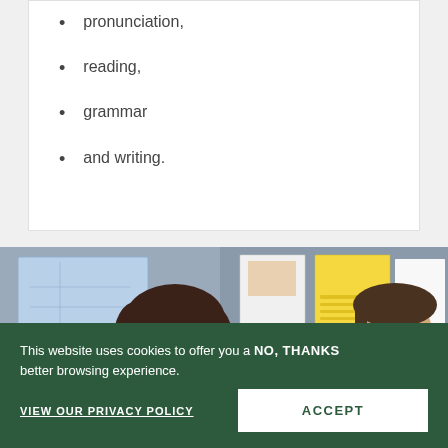pronunciation,
reading,
grammar
and writing.
[Figure (photo): Two students in a classroom setting — a young woman with curly hair smiling, and a young man in a striped shirt, with educational posters on the wall behind them.]
This website uses cookies to offer you a better browsing experience. NO, THANKS VIEW OUR PRIVACY POLICY ACCEPT